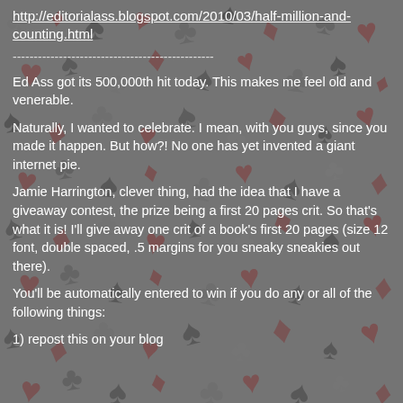http://editorialass.blogspot.com/2010/03/half-million-and-counting.html
------------------------------------------------
Ed Ass got its 500,000th hit today. This makes me feel old and venerable.
Naturally, I wanted to celebrate. I mean, with you guys, since you made it happen. But how?! No one has yet invented a giant internet pie.
Jamie Harrington, clever thing, had the idea that I have a giveaway contest, the prize being a first 20 pages crit. So that's what it is! I'll give away one crit of a book's first 20 pages (size 12 font, double spaced, .5 margins for you sneaky sneakies out there).
You'll be automatically entered to win if you do any or all of the following things:
1) repost this on your blog